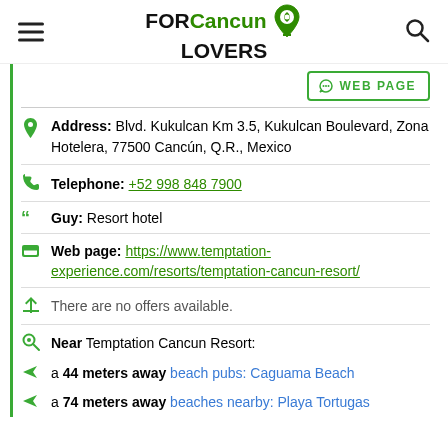FOR Cancun LOVERS
WEB PAGE
Address: Blvd. Kukulcan Km 3.5, Kukulcan Boulevard, Zona Hotelera, 77500 Cancún, Q.R., Mexico
Telephone: +52 998 848 7900
Guy: Resort hotel
Web page: https://www.temptation-experience.com/resorts/temptation-cancun-resort/
There are no offers available.
Near Temptation Cancun Resort:
a 44 meters away beach pubs: Caguama Beach
a 74 meters away beaches nearby: Playa Tortugas